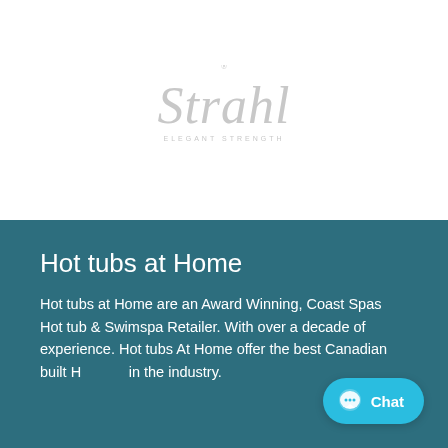[Figure (logo): Strahl logo in light gray with tagline ELEGANT STRENGTH below]
Hot tubs at Home
Hot tubs at Home are an Award Winning, Coast Spas Hot tub & Swimspa Retailer. With over a decade of experience. Hot tubs At Home offer the best Canadian built H... in the industry.